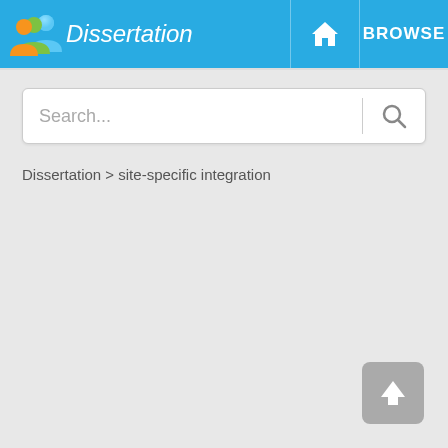Dissertation | BROWSE
Search...
Dissertation > site-specific integration